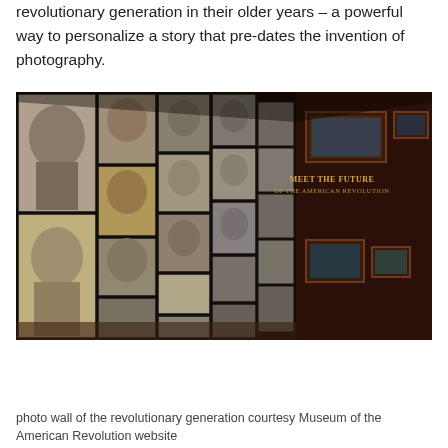revolutionary generation in their older years – a powerful way to personalize a story that pre-dates the invention of photography.
[Figure (photo): Museum exhibition photo wall showing many black-and-white and sepia portraits of the revolutionary generation displayed on a large wall, with framed paintings on the right side and a sign reading 'MEET THE FUTURE OF THE AMERICAN REVOLUTION'.]
photo wall of the revolutionary generation courtesy Museum of the American Revolution website